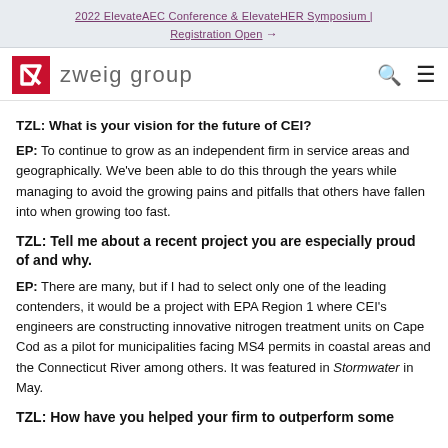2022 ElevateAEC Conference & ElevateHER Symposium | Registration Open →
[Figure (logo): Zweig Group logo with red square containing a white checkmark/arrow and gray text 'zweig group']
TZL: What is your vision for the future of CEI?
EP: To continue to grow as an independent firm in service areas and geographically. We've been able to do this through the years while managing to avoid the growing pains and pitfalls that others have fallen into when growing too fast.
TZL: Tell me about a recent project you are especially proud of and why.
EP: There are many, but if I had to select only one of the leading contenders, it would be a project with EPA Region 1 where CEI's engineers are constructing innovative nitrogen treatment units on Cape Cod as a pilot for municipalities facing MS4 permits in coastal areas and the Connecticut River among others. It was featured in Stormwater in May.
TZL: How have you helped your firm to outperform some